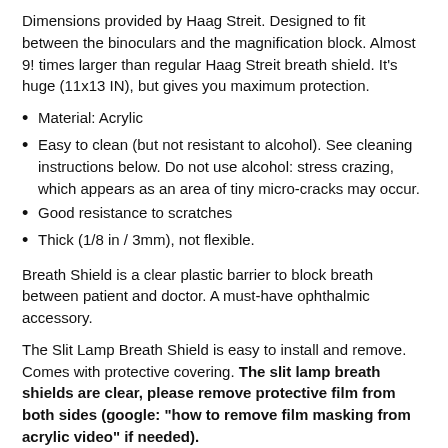Dimensions provided by Haag Streit. Designed to fit between the binoculars and the magnification block. Almost 9! times larger than regular Haag Streit breath shield. It’s huge (11x13 IN), but gives you maximum protection.
Material: Acrylic
Easy to clean (but not resistant to alcohol). See cleaning instructions below. Do not use alcohol: stress crazing, which appears as an area of tiny micro-cracks may occur.
Good resistance to scratches
Thick (1/8 in / 3mm), not flexible.
Breath Shield is a clear plastic barrier to block breath between patient and doctor. A must-have ophthalmic accessory.
The Slit Lamp Breath Shield is easy to install and remove. Comes with protective covering. The slit lamp breath shields are clear, please remove protective film from both sides (google: "how to remove film masking from acrylic video" if needed).
Cleaning instructions for ACRYLIC slit lamp breath shield:
Use mild soap or detergent and plenty of lukewarm water. Use a clean